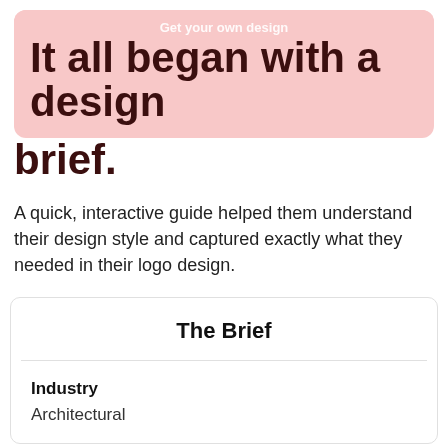Get your own design
It all began with a design brief.
A quick, interactive guide helped them understand their design style and captured exactly what they needed in their logo design.
The Brief
Industry
Architectural